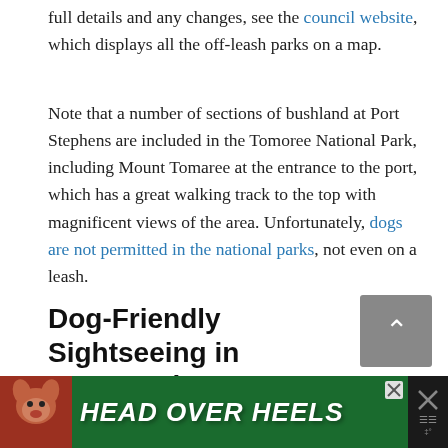full details and any changes, see the council website, which displays all the off-leash parks on a map.
Note that a number of sections of bushland at Port Stephens are included in the Tomoree National Park, including Mount Tomaree at the entrance to the port, which has a great walking track to the top with magnificent views of the area. Unfortunately, dogs are not permitted in the national parks, not even on a leash.
Dog-Friendly Sightseeing in Port Stephens
If you have a chance to take a boat out on the beautiful
[Figure (other): Advertisement banner with a dog image and text HEAD OVER HEELS on a dark green background]